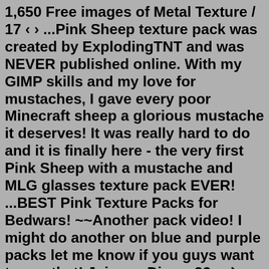1,650 Free images of Metal Texture / 17 ‹ › ...Pink Sheep texture pack was created by ExplodingTNT and was NEVER published online. With my GIMP skills and my love for mustaches, I gave every poor Minecraft sheep a glorious mustache it deserves! It was really hard to do and it is finally here - the very first Pink Sheep with a mustache and MLG glasses texture pack EVER! ...BEST Pink Texture Packs for Bedwars! ~~Another pack video! I might do another on blue and purple packs let me know if you guys want to see that! Join my Disc... 32x ⇄ 64x Battered Old Stuff 1.16.5. For an unrivaled realistic Minecraft experience, take a look at the Battered Old Stuff Resource Pack. This realistic pack offers a wide range of textures that are... 44,907 views by ozBillo — Jun 28, 2022. 🔲.This page contains several useful texture manipulation tools. The tools are listed below, with a description for each tool. DDS Utilities Included are a set of utilities for manipulating DDS image files, including: nvDXT, a command-line binary version of the nvDXT library, detach, a tool that extracts MIP